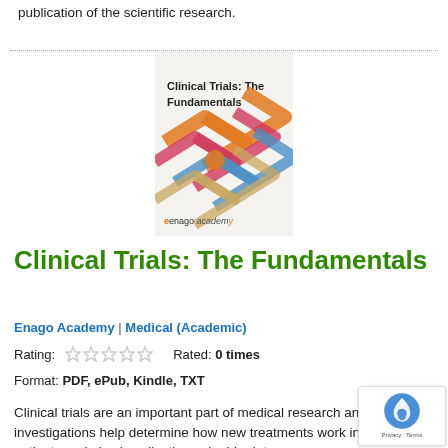publication of the scientific research.
[Figure (illustration): Book cover for 'Clinical Trials: The Fundamentals' by Enago Academy, showing a geometric diamond/ribbon pattern design in orange, pink, blue and tan colors, with the title text and 'enago academy' branding.]
Clinical Trials: The Fundamentals
Enago Academy | Medical (Academic)
Rating: ☆☆☆☆☆   Rated: 0 times
Format: PDF, ePub, Kindle, TXT
Clinical trials are an important part of medical research and these investigations help determine how new treatments work in human patients and also in collecting valuable data